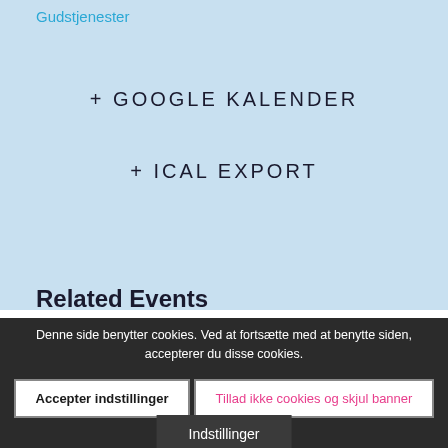Gudstjenester
+ GOOGLE KALENDER
+ ICAL EXPORT
Related Events
11. september kl. 09:00 - 17:00
« Fyraftenssang/AFLYSE...
Denne side benytter cookies. Ved at fortsætte med at benytte siden, accepterer du disse cookies.
Accepter indstillinger
Tillad ikke cookies og skjul banner
Indstillinger